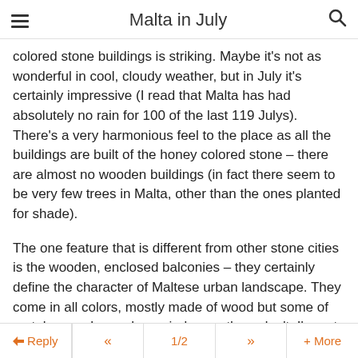Malta in July
colored stone buildings is striking. Maybe it's not as wonderful in cool, cloudy weather, but in July it's certainly impressive (I read that Malta has had absolutely no rain for 100 of the last 119 Julys). There's a very harmonious feel to the place as all the buildings are built of the honey colored stone – there are almost no wooden buildings (in fact there seem to be very few trees in Malta, other than the ones planted for shade).
The one feature that is different from other stone cities is the wooden, enclosed balconies – they certainly define the character of Maltese urban landscape. They come in all colors, mostly made of wood but some of metal, some have glass windows, others don't. I'm not really sure about the historical origins of them but apparently the government gives people financial incentives to renovate them. They may be of North African origin, Malta is very close to Africa
Reply  <<  1/2  >>  + More